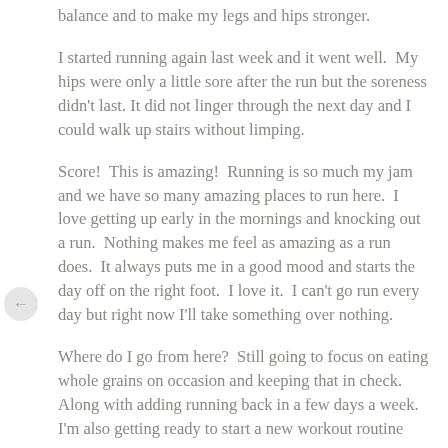balance and to make my legs and hips stronger.
I started running again last week and it went well.  My hips were only a little sore after the run but the soreness didn't last. It did not linger through the next day and I could walk up stairs without limping.
Score!  This is amazing!  Running is so much my jam and we have so many amazing places to run here.  I love getting up early in the mornings and knocking out a run.  Nothing makes me feel as amazing as a run does.  It always puts me in a good mood and starts the day off on the right foot.  I love it.  I can't go run every day but right now I'll take something over nothing.
Where do I go from here?  Still going to focus on eating whole grains on occasion and keeping that in check.  Along with adding running back in a few days a week.  I'm also getting ready to start a new workout routine